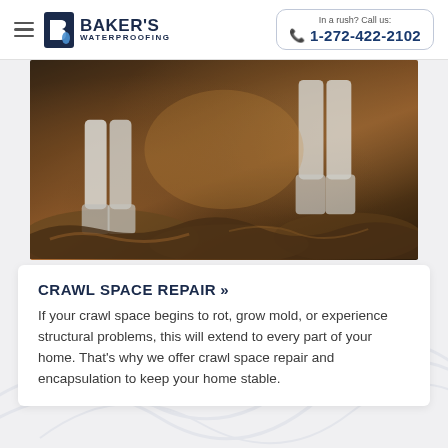Baker's Waterproofing | In a rush? Call us: 1-272-422-2102
[Figure (photo): Workers in white protective suits working in a dark crawl space with debris and insulation material visible on the ground]
CRAWL SPACE REPAIR »
If your crawl space begins to rot, grow mold, or experience structural problems, this will extend to every part of your home. That's why we offer crawl space repair and encapsulation to keep your home stable.